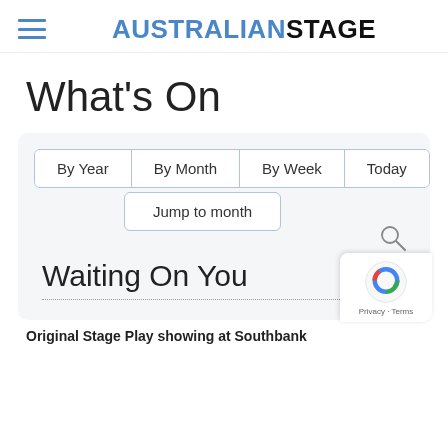AUSTRALIANSTAGE
What's On
[Figure (screenshot): Navigation controls with buttons: By Year, By Month, By Week, Today; a 'Jump to month' dropdown; and a search icon]
Waiting On You
Original Stage Play showing at Southbank